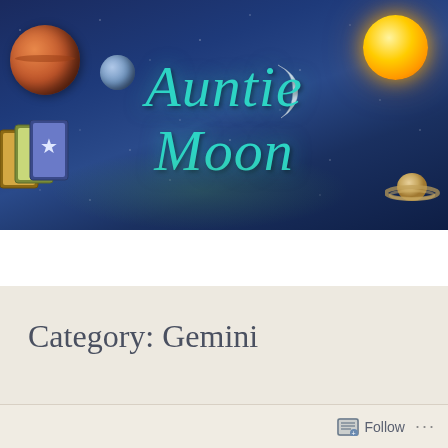[Figure (illustration): Auntie Moon website banner with dark blue starry night sky background, featuring planets (Jupiter, blue planet, sun), crescent moon, Saturn, tarot cards, and the cursive turquoise text 'Auntie Moon']
Menu
Category: Gemini
Follow ...